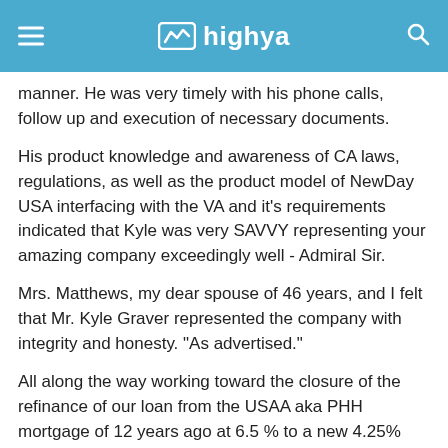highya
manner. He was very timely with his phone calls, follow up and execution of necessary documents.
His product knowledge and awareness of CA laws, regulations, as well as the product model of NewDay USA interfacing with the VA and it's requirements indicated that Kyle was very SAVVY representing your amazing company exceedingly well - Admiral Sir.
Mrs. Matthews, my dear spouse of 46 years, and I felt that Mr. Kyle Graver represented the company with integrity and honesty. "As advertised."
All along the way working toward the closure of the refinance of our loan from the USAA aka PHH mortgage of 12 years ago at 6.5 % to a new 4.25% interest, Mr. Graver guided us easily step by step both electronically